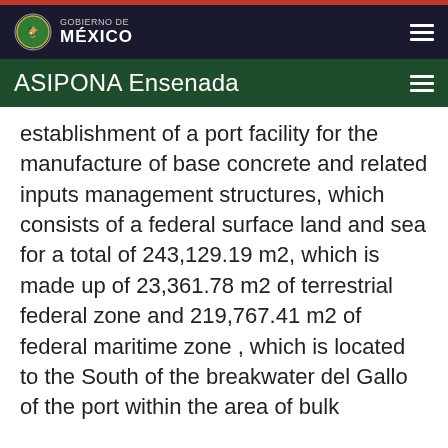GOBIERNO DE MÉXICO
ASIPONA Ensenada
establishment of a port facility for the manufacture of base concrete and related inputs management structures, which consists of a federal surface land and sea for a total of 243,129.19 m2, which is made up of 23,361.78 m2 of terrestrial federal zone and 219,767.41 m2 of federal maritime zone , which is located to the South of the breakwater del Gallo of the port within the area of bulk